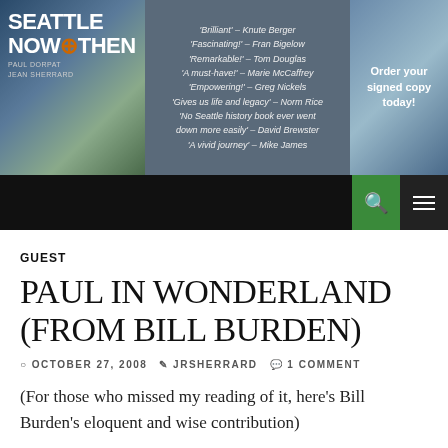[Figure (screenshot): Seattle Now & Then website header banner with book logo on left, review quotes in center on gray background, and author photo with 'Order your signed copy today!' on right]
[Figure (screenshot): Navigation bar with black background, green search icon button and white hamburger menu button on right]
GUEST
PAUL IN WONDERLAND (FROM BILL BURDEN)
OCTOBER 27, 2008  JRSHERRARD  1 COMMENT
(For those who missed my reading of it, here's Bill Burden's eloquent and wise contribution)
For Paul, at the Biblical three-score-ten —